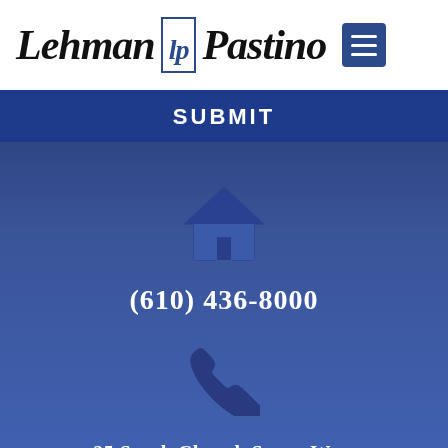[Figure (logo): Lehman LP Pastino law firm logo with old English style text and LP monogram badge]
SUBMIT
[Figure (illustration): Home/house icon in blue]
(610) 436-8000
[Figure (illustration): Phone handset icon in dark blue]
25 South Church Street West Chester, PA 19382